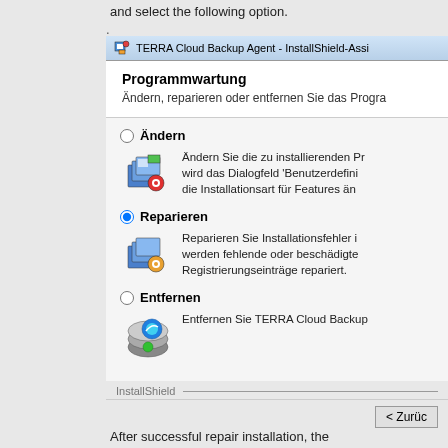and select the following option.
[Figure (screenshot): TERRA Cloud Backup Agent InstallShield wizard dialog showing Programmwartung (Program Maintenance) options: Ändern (Change), Reparieren (Repair, selected), and Entfernen (Remove), with a < Zurück button at the bottom.]
After successful repair installation, the